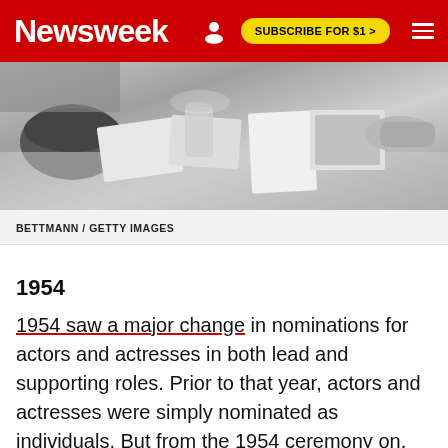Newsweek | SUBSCRIBE FOR $1 >
[Figure (photo): Black and white photograph showing people looking at magazines and photographs on a table]
BETTMANN / GETTY IMAGES
1954
1954 saw a major change in nominations for actors and actresses in both lead and supporting roles. Prior to that year, actors and actresses were simply nominated as individuals. But from the 1954 ceremony on, they were required to be nominated for their